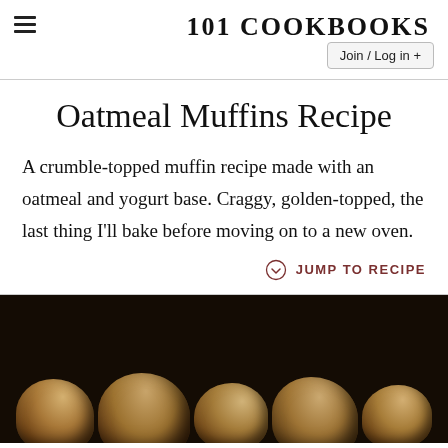101 COOKBOOKS
Join / Log in +
Oatmeal Muffins Recipe
A crumble-topped muffin recipe made with an oatmeal and yogurt base. Craggy, golden-topped, the last thing I'll bake before moving on to a new oven.
JUMP TO RECIPE
[Figure (photo): Close-up photo of golden-brown crumble-topped oatmeal muffins on a dark background, viewed from the front showing craggy tops]